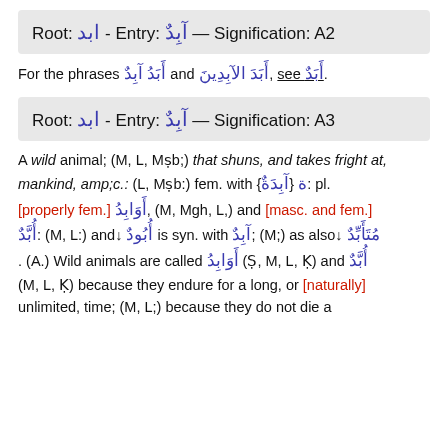Root: ابد - Entry: آبِدٌ — Signification: A2
For the phrases أَبَدُ آبِدٌ and أَبَدَ الآبِدِينَ, see أَبَدٌ.
Root: ابد - Entry: آبِدٌ — Signification: A3
A wild animal; (M, L, Mṣb;) that shuns, and takes fright at, mankind, amp;c.: (L, Mṣb:) fem. with ة {آبِدَةٌ}: pl. [properly fem.] أَوَابِدُ, (M, Mgh, L,) and [masc. and fem.] أُبَّدٌ: (M, L:) and↓ أُبُودٌ is syn. with آبِدٌ; (M;) as also↓ مُتَأَبِّدٌ . (A.) Wild animals are called أَوَابِدُ (Ṣ, M, L, Ḳ) and أُبَّدٌ (M, L, Ḳ) because they endure for a long, or [naturally] unlimited, time; (M, L;) because they do not die a